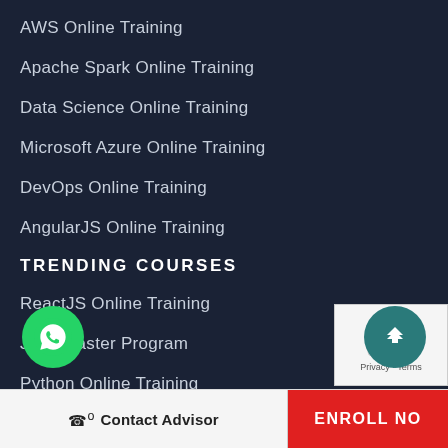AWS Online Training
Apache Spark Online Training
Data Science Online Training
Microsoft Azure Online Training
DevOps Online Training
AngularJS Online Training
TRENDING COURSES
ReactJS Online Training
Java Master Program
Python Online Training
Ionic Online Training
Tableau Online Training
Contact Advisor   ENROLL NO